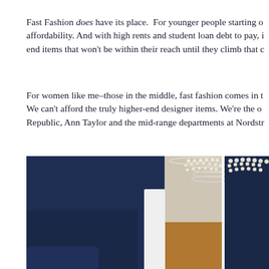Fast Fashion does have its place.  For younger people starting o affordability. And with high rents and student loan debt to pay, i end items that won't be within their reach until they climb that c
For women like me–those in the middle, fast fashion comes in t We can't afford the truly higher-end designer items. We're the o Republic, Ann Taylor and the mid-range departments at Nordstr
[Figure (photo): Two side-by-side photos of a woman wearing a navy blue top and layered pearl necklace. Left image shows the full sleeve and arm of the navy top with a white chair/furniture element and wood table in the background. Right image is a closer view of the necklace and navy top neckline area.]